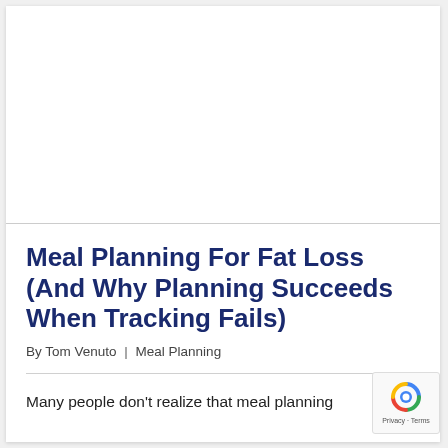[Figure (other): Advertisement or blank white space block at the top of the page]
Meal Planning For Fat Loss (And Why Planning Succeeds When Tracking Fails)
By Tom Venuto  |  Meal Planning
Many people don't realize that meal planning